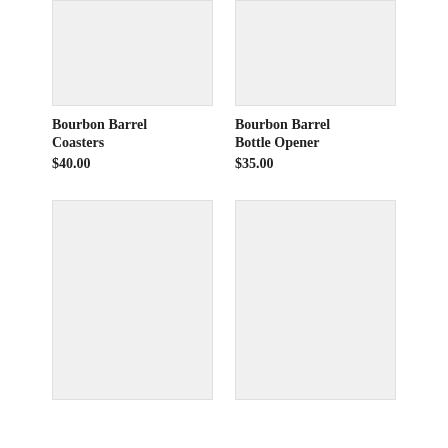[Figure (photo): Product image placeholder for Bourbon Barrel Coasters (top-left, light gray background)]
[Figure (photo): Product image placeholder for Bourbon Barrel Bottle Opener (top-right, light gray background)]
Bourbon Barrel Coasters
$40.00
Bourbon Barrel Bottle Opener
$35.00
[Figure (photo): Product image placeholder (bottom-left, light gray background)]
[Figure (photo): Product image placeholder (bottom-right, light gray background)]